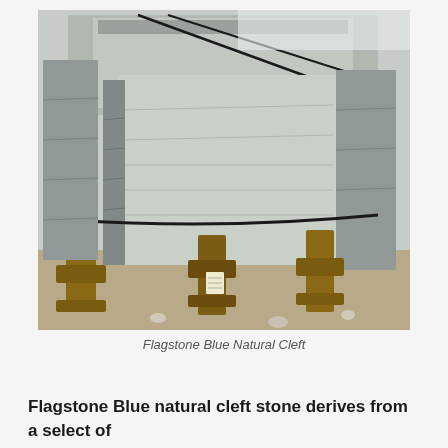[Figure (photo): Photograph of large bluestone flagstone slabs stacked on wooden pallets with metal straps, outdoors in a stone yard with gravel ground and other stone blocks visible in background.]
Flagstone Blue Natural Cleft
Flagstone Blue natural cleft stone derives from a select of